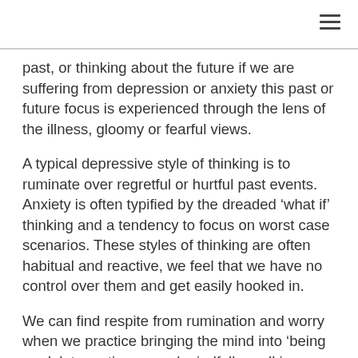past, or thinking about the future if we are suffering from depression or anxiety this past or future focus is experienced through the lens of the illness, gloomy or fearful views.
A typical depressive style of thinking is to ruminate over regretful or hurtful past events. Anxiety is often typified by the dreaded ‘what if’ thinking and a tendency to focus on worst case scenarios. These styles of thinking are often habitual and reactive, we feel that we have no control over them and get easily hooked in.
We can find respite from rumination and worry when we practice bringing the mind into ‘being mode’; try eating a meal mindfully, walking